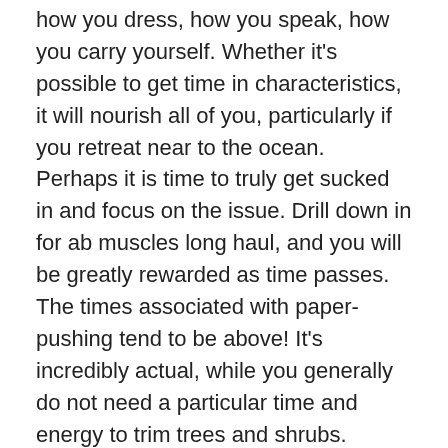how you dress, how you speak, how you carry yourself. Whether it's possible to get time in characteristics, it will nourish all of you, particularly if you retreat near to the ocean. Perhaps it is time to truly get sucked in and focus on the issue. Drill down in for ab muscles long haul, and you will be greatly rewarded as time passes. The times associated with paper-pushing tend to be above! It's incredibly actual, while you generally do not need a particular time and energy to trim trees and shrubs. There's still time and energy to take full advantage of duty deductions in 2008 and in addition gain from the higher deductible restrictions next calendar 12 months.
Now aNew yr is a purpose that's celebrated